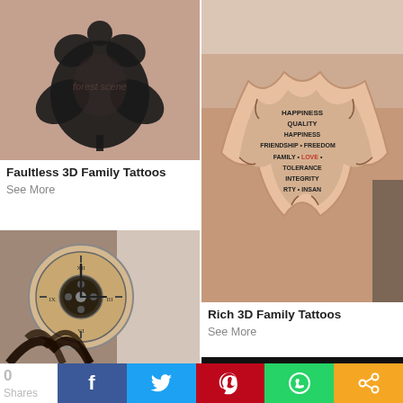[Figure (photo): Shoulder/chest tattoo of a large black maple leaf design on skin]
Faultless 3D Family Tattoos
See More
[Figure (photo): Shoulder tattoo of a 3D torn skin effect revealing a star shape with words: HAPPINESS, FRIENDSHIP, FREEDOM, FAMILY, LOVE, TOLERANCE, INTEGRITY, LIBERTY, INSANITY]
Rich 3D Family Tattoos
See More
[Figure (photo): Shoulder tattoo of a detailed clock face with mechanical gears and tree roots design]
[Figure (photo): Partially visible dark image at bottom right]
0
Shares